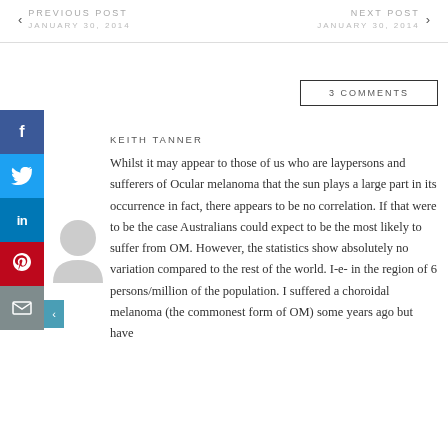PREVIOUS POST JANUARY 30, 2014
NEXT POST JANUARY 30, 2014
3 COMMENTS
KEITH TANNER
Whilst it may appear to those of us who are laypersons and sufferers of Ocular melanoma that the sun plays a large part in its occurrence in fact, there appears to be no correlation. If that were to be the case Australians could expect to be the most likely to suffer from OM. However, the statistics show absolutely no variation compared to the rest of the world. I-e- in the region of 6 persons/million of the population. I suffered a choroidal melanoma (the commonest form of OM) some years ago but have